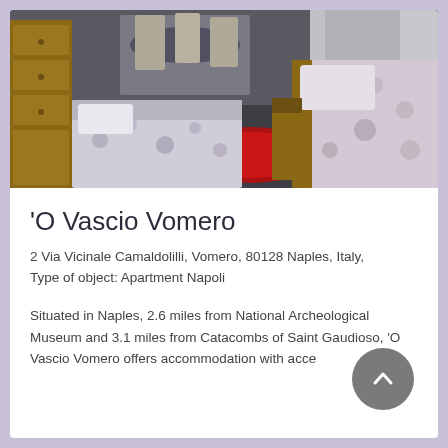[Figure (photo): Interior photo of an apartment room showing a wooden dresser on the left, a dining area with chairs in the background, a red rug on the floor, and two beds/sofas with floral patterned covers]
'O Vascio Vomero
2 Via Vicinale Camaldolilli, Vomero, 80128 Naples, Italy,
Type of object: Apartment Napoli
Situated in Naples, 2.6 miles from National Archeological Museum and 3.1 miles from Catacombs of Saint Gaudioso, 'O Vascio Vomero offers accommodation with acce